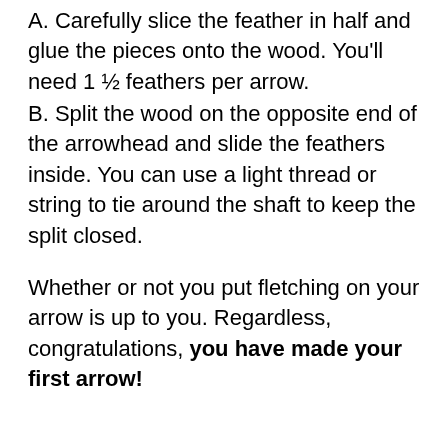A. Carefully slice the feather in half and glue the pieces onto the wood. You'll need 1 ½ feathers per arrow.
B. Split the wood on the opposite end of the arrowhead and slide the feathers inside. You can use a light thread or string to tie around the shaft to keep the split closed.
Whether or not you put fletching on your arrow is up to you. Regardless, congratulations, you have made your first arrow!